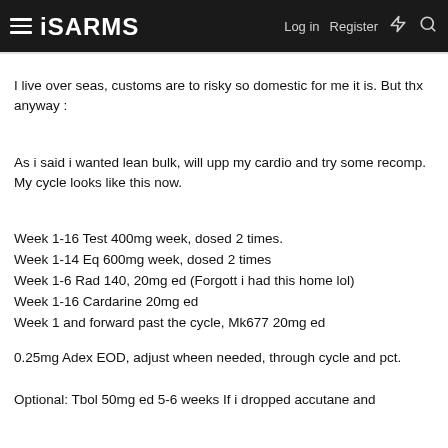iSARMS | Log in | Register
I live over seas, customs are to risky so domestic for me it is. But thx anyway :
As i said i wanted lean bulk, will upp my cardio and try some recomp. My cycle looks like this now.
Week 1-16 Test 400mg week, dosed 2 times.
Week 1-14 Eq 600mg week, dosed 2 times
Week 1-6 Rad 140, 20mg ed (Forgott i had this home lol)
Week 1-16 Cardarine 20mg ed
Week 1 and forward past the cycle, Mk677 20mg ed
0.25mg Adex EOD, adjust wheen needed, through cycle and pct.
Optional: Tbol 50mg ed 5-6 weeks If i dropped accutane and